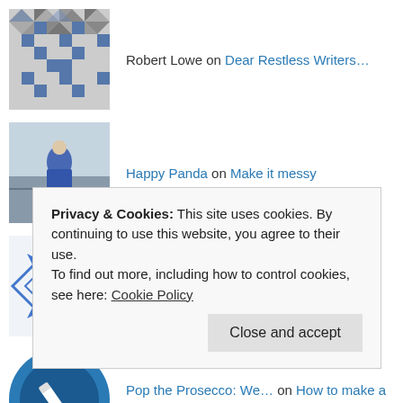Robert Lowe on Dear Restless Writers…
Happy Panda on Make it messy
WS on Pop the Prosecco: We're Celebr…
Pop the Prosecco: We… on How to make a pine cone garlan…
Pop the Prosecco: We… on Time Out
Privacy & Cookies: This site uses cookies. By continuing to use this website, you agree to their use.
To find out more, including how to control cookies, see here: Cookie Policy
Close and accept